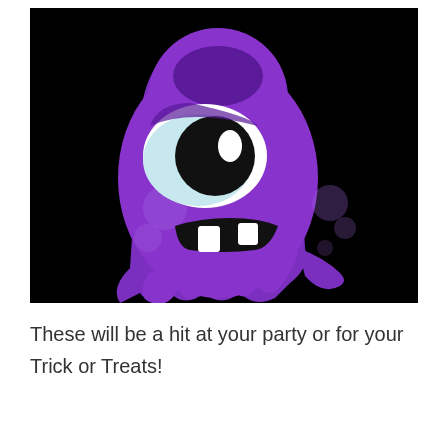[Figure (illustration): A cartoon purple one-eyed ghost monster on a black background. The ghost has a large white eye with a black pupil and a small white oval highlight, a dark purple brow, lighter purple circular spots/bubbles on its body, and a wide open mouth showing two white teeth. The ghost shape has a wavy bottom edge and a tail-like appendage.]
These will be a hit at your party or for your Trick or Treats!